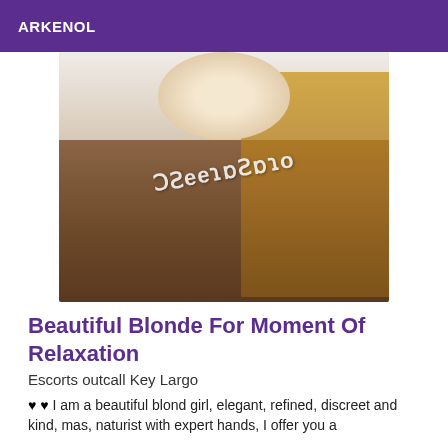ARKENOL
[Figure (photo): A blonde woman taking a selfie with a watermark phone number overlaid on the image]
Beautiful Blonde For Moment Of Relaxation
Escorts outcall Key Largo
♥ ♥ I am a beautiful blond girl, elegant, refined, discreet and kind, mas, naturist with expert hands, I offer you a